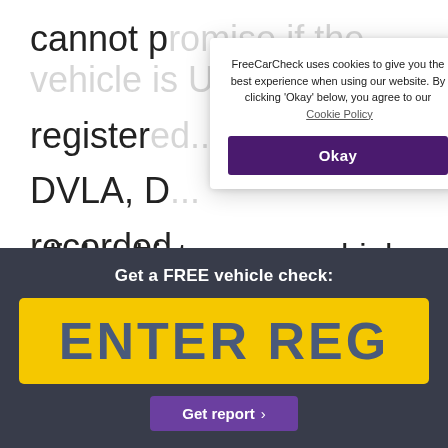cannot p... if the vehicle is UK
register...
DVLA, D...
recorded...
true tha...
[Figure (screenshot): Cookie consent popup overlay from FreeCarCheck website. Text reads: 'FreeCarCheck uses cookies to give you the best experience when using our website. By clicking 'Okay' below, you agree to our Cookie Policy'. Contains a purple 'Okay' button.]
reliable history; many higher-end classic cars
will have been looked after from the moment
Get a FREE vehicle check:
ENTER REG
Get report >